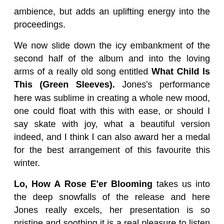ambience, but adds an uplifting energy into the proceedings.
We now slide down the icy embankment of the second half of the album and into the loving arms of a really old song entitled What Child Is This (Green Sleeves). Jones’s performance here was sublime in creating a whole new mood, one could float with this with ease, or should I say skate with joy, what a beautiful version indeed, and I think I can also award her a medal for the best arrangement of this favourite this winter.
Lo, How A Rose E'er Blooming takes us into the deep snowfalls of the release and here Jones really excels, her presentation is so pristine and soothing it is a real pleasure to listen to it, there is a tranquillity of style here that is not just ambient, but also incredibly magical in the musical space it unfurls.